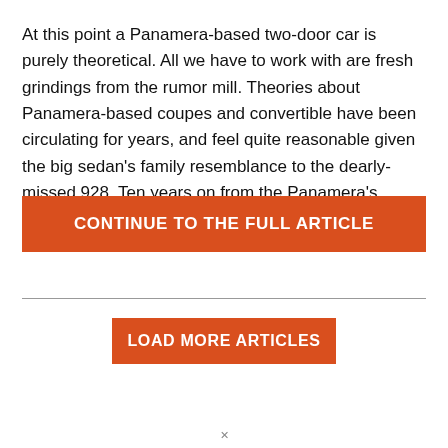At this point a Panamera-based two-door car is purely theoretical. All we have to work with are fresh grindings from the rumor mill. Theories about Panamera-based coupes and convertible have been circulating for years, and feel quite reasonable given the big sedan's family resemblance to the dearly-missed 928. Ten years on from the Panamera's …
CONTINUE TO THE FULL ARTICLE
LOAD MORE ARTICLES